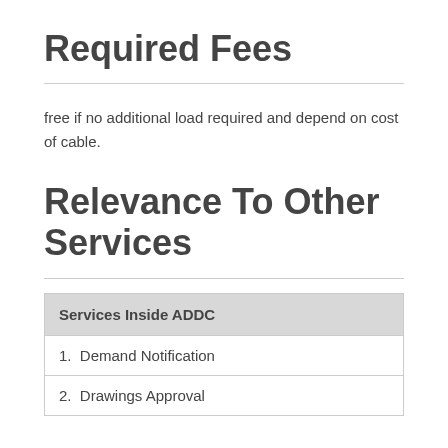Required Fees
free if no additional load required and depend on cost of cable.
Relevance To Other Services
| Services Inside ADDC |
| --- |
| 1.  Demand Notification |
| 2.  Drawings Approval |